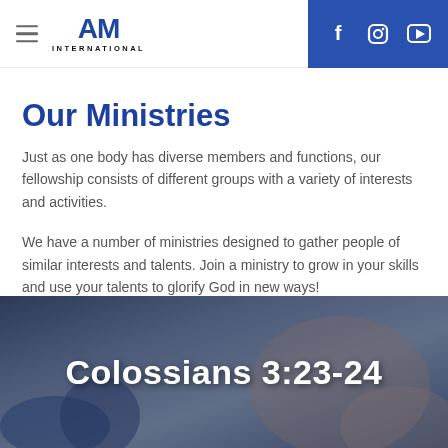AM International (logo) — navigation header with social media icons (Facebook, Instagram, YouTube)
Our Ministries
Just as one body has diverse members and functions, our fellowship consists of different groups with a variety of interests and activities.
We have a number of ministries designed to gather people of similar interests and talents. Join a ministry to grow in your skills and use your talents to glorify God in new ways!
[Figure (photo): Background photo of people sitting together, overlaid with bold white text reading 'Colossians 3:23-24']
Colossians 3:23-24